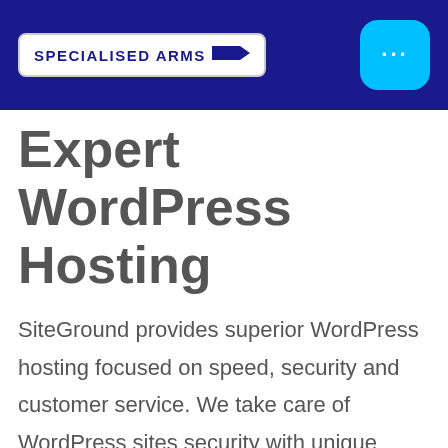[Figure (logo): Specialised Arms logo with bullet shape on dark navy blue header bar, and a cyan rounded square menu button with three dots]
Expert WordPress Hosting
SiteGround provides superior WordPress hosting focused on speed, security and customer service. We take care of WordPress sites security with unique server-level customizations, WP auto-updates, and daily backups. We make them faster by regularly upgrading our hardware, offering